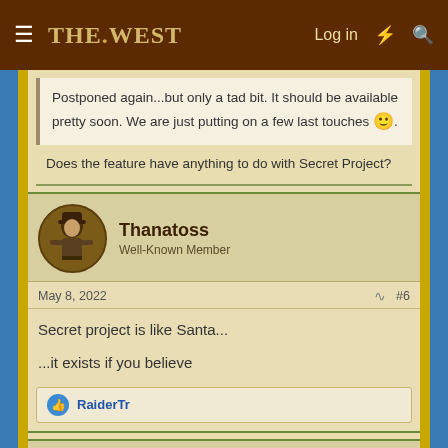THE WEST — Log in
Postponed again...but only a tad bit. It should be available pretty soon. We are just putting on a few last touches 🙂.
Does the feature have anything to do with Secret Project?
Thanatoss
Well-Known Member
May 8, 2022  #6
Secret project is like Santa...
...it exists if you believe
RaiderTr
Artem124
Well-Known Member